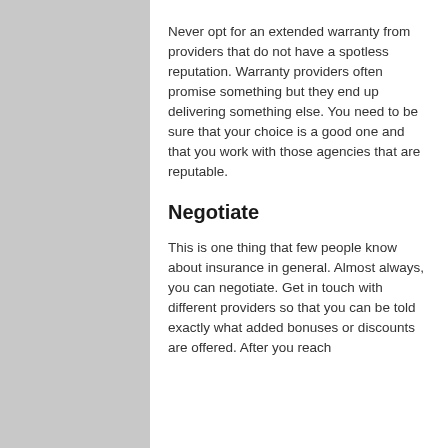Never opt for an extended warranty from providers that do not have a spotless reputation. Warranty providers often promise something but they end up delivering something else. You need to be sure that your choice is a good one and that you work with those agencies that are reputable.
Negotiate
This is one thing that few people know about insurance in general. Almost always, you can negotiate. Get in touch with different providers so that you can be told exactly what added bonuses or discounts are offered. After you reach